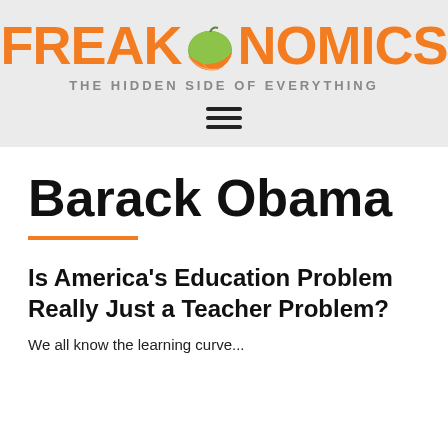[Figure (logo): Freakonomics logo with orange fruit replacing the letter O, tagline 'THE HIDDEN SIDE OF EVERYTHING', and hamburger menu icon]
Barack Obama
Is America's Education Problem Really Just a Teacher Problem?
We all know the learning curve...